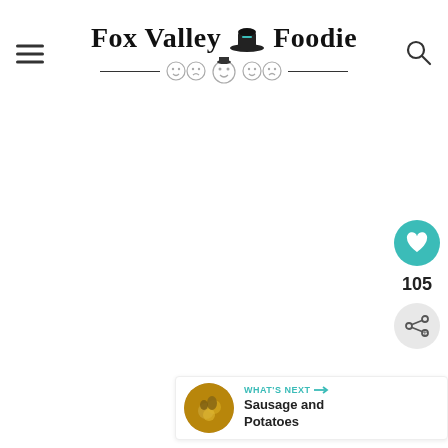Fox Valley Foodie
[Figure (other): Large blank/white main content area below the header]
[Figure (other): Heart favorite button (teal circle with heart icon), count 105, and share button]
105
[Figure (other): What's Next widget showing thumbnail of Sausage and Potatoes dish]
WHAT'S NEXT → Sausage and Potatoes